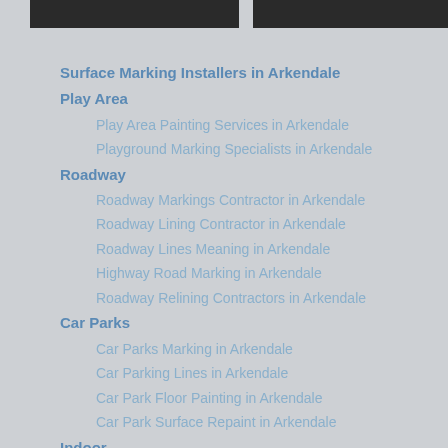[Figure (photo): Two partial photos visible at the top of the page, cut off, showing dark images side by side.]
Surface Marking Installers in Arkendale
Play Area
Play Area Painting Services in Arkendale
Playground Marking Specialists in Arkendale
Roadway
Roadway Markings Contractor in Arkendale
Roadway Lining Contractor in Arkendale
Roadway Lines Meaning in Arkendale
Highway Road Marking in Arkendale
Roadway Relining Contractors in Arkendale
Car Parks
Car Parks Marking in Arkendale
Car Parking Lines in Arkendale
Car Park Floor Painting in Arkendale
Car Park Surface Repaint in Arkendale
Indoor
Warehouse Flooring Paint in Arkendale
Indoor Walkway Markings in Arkendale
Hydroblasting Services in Arkendale
Physical Distancing Markings in Arkendale